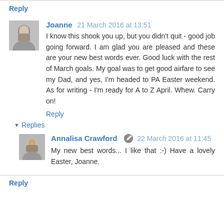Reply
Joanne 21 March 2016 at 13:51
I know this shook you up, but you didn't quit - good job going forward. I am glad you are pleased and these are your new best words ever. Good luck with the rest of March goals. My goal was to get good airfare to see my Dad, and yes, I'm headed to PA Easter weekend. As for writing - I'm ready for A to Z April. Whew. Carry on!
Reply
Replies
Annalisa Crawford 22 March 2016 at 11:45
My new best words... I like that :-) Have a lovely Easter, Joanne.
Reply